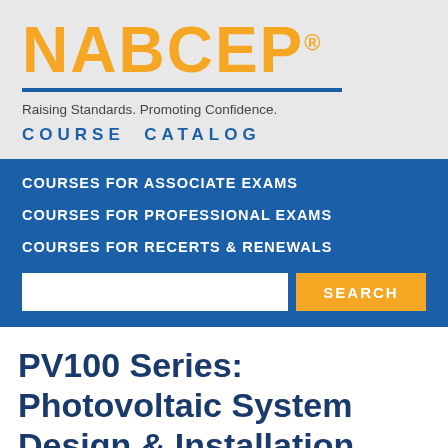[Figure (logo): NABCEP logo in orange bold text with registered trademark symbol]
Raising Standards. Promoting Confidence.
COURSE CATALOG
COURSES FOR ASSOCIATE EXAMS
COURSES FOR PROFESSIONAL EXAMS
COURSES FOR RECERTS & RENEWALS
PV100 Series: Photovoltaic System Design & Installation